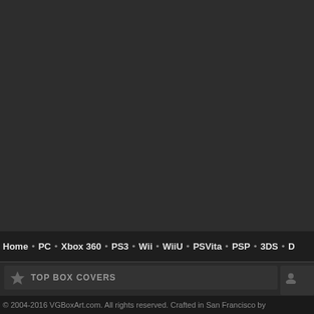[Figure (screenshot): Dark banner/header area of VGBoxArt.com website]
Home · PC · Xbox 360 · PS3 · Wii · WiiU · PSVita · PSP · 3DS · D
TOP BOX COVERS
TOP DES
» Metal Gear Solid 2: Sons of Liberty (PS2)
» del337er
» SGJin
» enrique
» *toptime*
» Vince_1990
© 2004-2016 VGBoxArt.com. All rights reserved. Crafted in San Francisco by